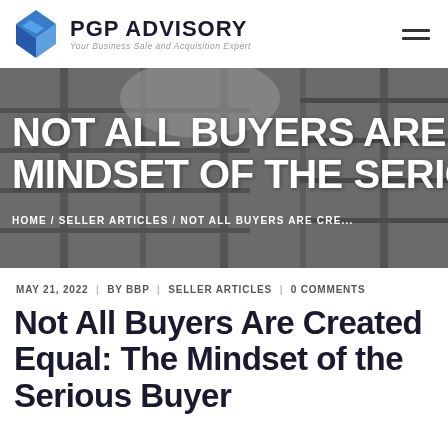PGP ADVISORY — Your Business Sale and Acquisition Expert
[Figure (photo): Black and white photo of a warehouse interior with tall shelving racks and a person in the background, with large overlaid white text reading 'NOT ALL BUYERS ARE C... MINDSET OF THE SERIO...' and breadcrumb navigation 'HOME / SELLER ARTICLES / NOT ALL BUYERS ARE CRE...']
MAY 21, 2022  |  BY BBP  |  SELLER ARTICLES  |  0 COMMENTS
Not All Buyers Are Created Equal: The Mindset of the Serious Buyer